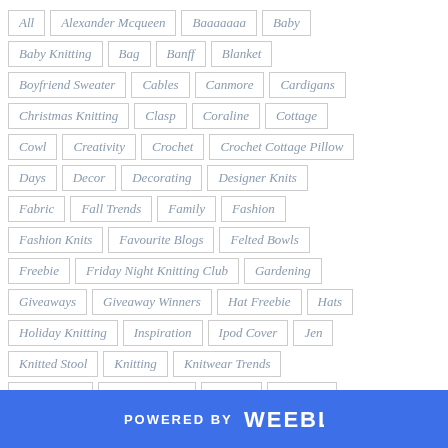All
Alexander Mcqueen
Baaaaaaa
Baby
Baby Knitting
Bag
Banff
Blanket
Boyfriend Sweater
Cables
Canmore
Cardigans
Christmas Knitting
Clasp
Coraline
Cottage
Cowl
Creativity
Crochet
Crochet Cottage Pillow
Days
Decor
Decorating
Designer Knits
Fabric
Fall Trends
Family
Fashion
Fashion Knits
Favourite Blogs
Felted Bowls
Freebie
Friday Night Knitting Club
Gardening
Giveaways
Giveaway Winners
Hat Freebie
Hats
Holiday Knitting
Inspiration
Ipod Cover
Jen
Knitted Stool
Knitting
Knitwear Trends
Lake Louise
Men's Sweater
Mittens
Montreal
POWERED BY weebly